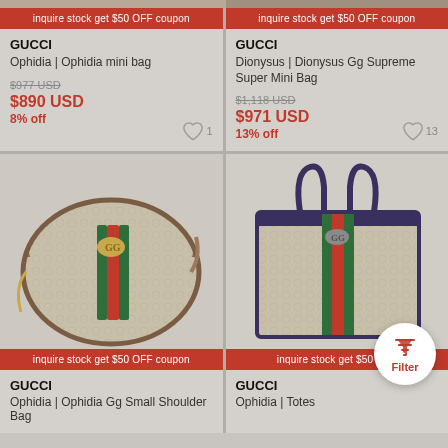[Figure (screenshot): Top strip of two product cards partially visible at the very top of the page]
inquire stock get $50 OFF coupon
inquire stock get $50 OFF coupon
GUCCI
Ophidia | Ophidia mini bag
$977 USD
$890 USD
8% off
GUCCI
Dionysus | Dionysus Gg Supreme Super Mini Bag
$1,118 USD
$971 USD
13% off
[Figure (photo): Gucci Ophidia GG Small Shoulder Bag with green and red stripe and GG logo clasp]
[Figure (photo): Gucci Ophidia Totes large tote bag with GG Supreme canvas and blue leather trim]
inquire stock get $50 OFF coupon
inquire stock get $50 OFF coupon
GUCCI
Ophidia | Ophidia Gg Small Shoulder Bag
GUCCI
Ophidia | Totes